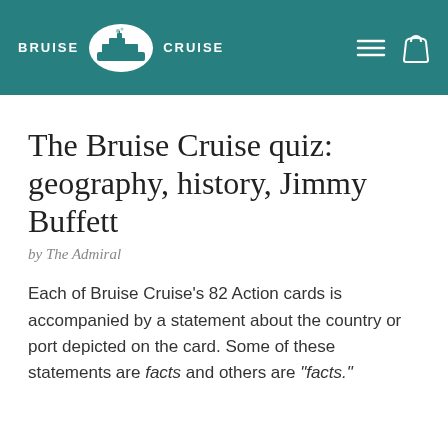BRUISE CRUISE
The Bruise Cruise quiz: geography, history, Jimmy Buffett
by The Admiral
Each of Bruise Cruise's 82 Action cards is accompanied by a statement about the country or port depicted on the card. Some of these statements are facts and others are "facts."